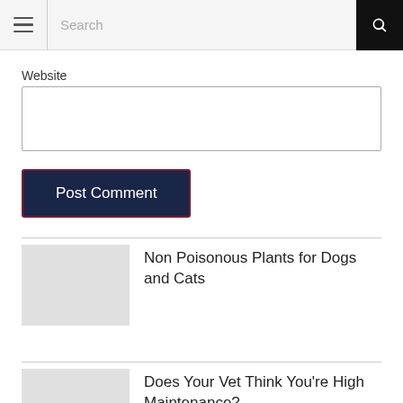Search
Website
Post Comment
Non Poisonous Plants for Dogs and Cats
Does Your Vet Think You're High Maintenance?